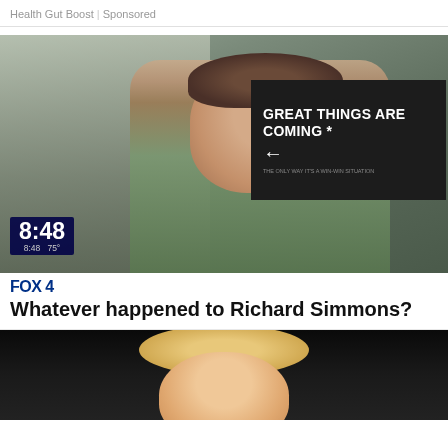Health Gut Boost | Sponsored
[Figure (screenshot): Fox 4 news screenshot showing a man in a tank top outdoors, with a billboard reading 'GREAT THINGS ARE COMING' with an arrow, time overlay showing 8:48 and 75°]
FOX 4
Whatever happened to Richard Simmons?
[Figure (photo): Partial photo of a person with blonde hair against a dark background]